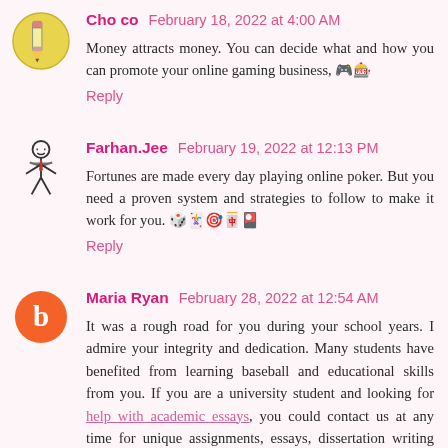Cho co February 18, 2022 at 4:00 AM
Money attracts money. You can decide what and how you can promote your online gaming business, 🎮🎰
Reply
Farhan.Jee February 19, 2022 at 12:13 PM
Fortunes are made every day playing online poker. But you need a proven system and strategies to follow to make it work for you. 🎲🃏🎯🀄🎴
Reply
Maria Ryan February 28, 2022 at 12:54 AM
It was a rough road for you during your school years. I admire your integrity and dedication. Many students have benefited from learning baseball and educational skills from you. If you are a university student and looking for help with academic essays, you could contact us at any time for unique assignments, essays, dissertation writing services.